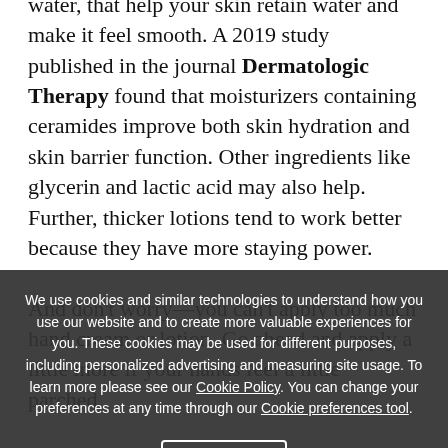water, that help your skin retain water and make it feel smooth. A 2019 study published in the journal Dermatologic Therapy found that moisturizers containing ceramides improve both skin hydration and skin barrier function. Other ingredients like glycerin and lactic acid may also help. Further, thicker lotions tend to work better because they have more staying power.
And don't worry—you can't apply too much hand cream or lotion. Go ahead and apply a little more if your hands feel a little parched.
Washing your hands often is just good practice, so take the time to find a soap and moisturizer that works for you. And
We use cookies and similar technologies to understand how you use our website and to create more valuable experiences for you. These cookies may be used for different purposes, including personalized advertising and measuring site usage. To learn more please see our Cookie Policy. You can change your preferences at any time through our Cookie preferences tool.